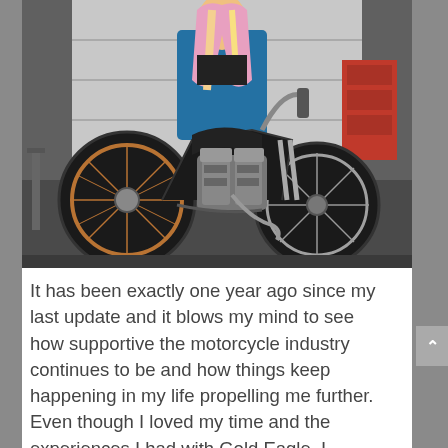[Figure (photo): A woman with long pink and blonde hair wearing a blue flannel shirt stands behind a custom black bobber-style motorcycle with chrome engine and copper/bronze spoke wheels, in a garage workshop setting.]
It has been exactly one year ago since my last update and it blows my mind to see how supportive the motorcycle industry continues to be and how things keep happening in my life propelling me further.  Even though I loved my time and the experiences I had with Gold Eagle, I decided after four years to resign as a Cool Rides Online Champ so I could pursue other